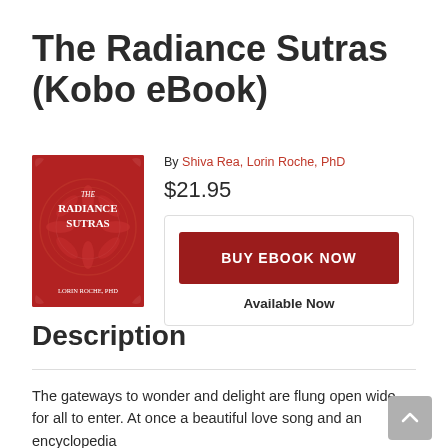The Radiance Sutras (Kobo eBook)
By Shiva Rea, Lorin Roche, PhD
$21.95
[Figure (illustration): Book cover of The Radiance Sutras — red background with ornate mandala/floral design, white serif text reading THE RADIANCE SUTRAS, and author name LORIN ROCHE, PHD at the bottom]
BUY EBOOK NOW
Available Now
Description
The gateways to wonder and delight are flung open wide for all to enter. At once a beautiful love song and an encyclopedia of…